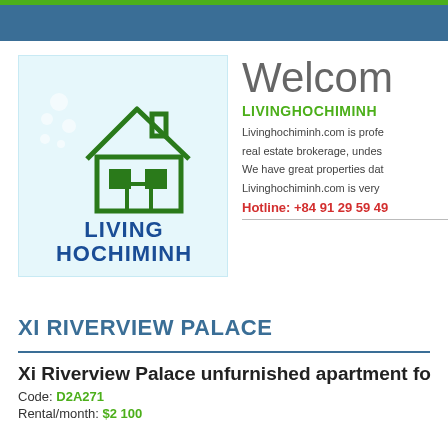[Figure (logo): Living Hochiminh logo with house icon on light blue background]
Welcome
LIVINGHOCHIMINH
Livinghochiminh.com is profe real estate brokerage, undes We have great properties dat Livinghochiminh.com is very
Hotline: +84 91 29 59 49
XI RIVERVIEW PALACE
Xi Riverview Palace unfurnished apartment fo
Code: D2A271
Rental/month: $2 100